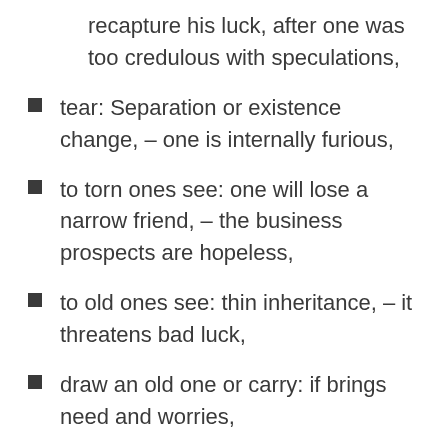recapture his luck, after one was too credulous with speculations,
tear: Separation or existence change, – one is internally furious,
to torn ones see: one will lose a narrow friend, – the business prospects are hopeless,
to old ones see: thin inheritance, – it threatens bad luck,
draw an old one or carry: if brings need and worries,
take off an old one: if brings a relief